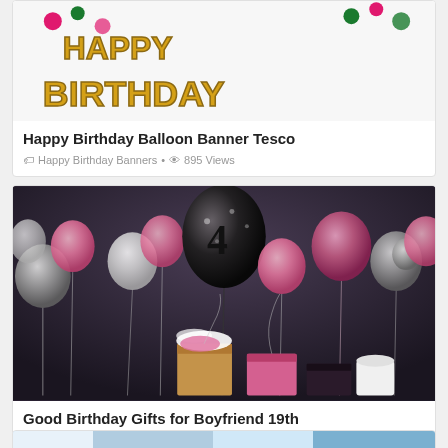[Figure (photo): Happy Birthday balloon banner with gold letters against white background with colorful pompoms]
Happy Birthday Balloon Banner Tesco
Happy Birthday Banners • 895 Views
[Figure (photo): Birthday party setup with pink, silver, black and white balloons with gift boxes on the floor]
Good Birthday Gifts for Boyfriend 19th
Birthday Gifts For Him • 876 Views
[Figure (photo): Partial view of another birthday-related image at the bottom of the page]